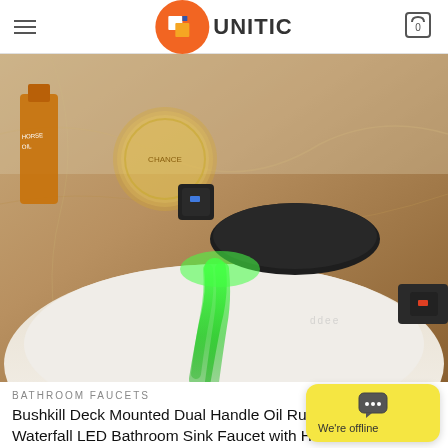FUNITIC
[Figure (photo): A black oil-rubbed bronze waterfall bathroom faucet mounted on a marble sink, with green LED-lit water flowing out. Behind the faucet are bathroom accessories including an amber bottle labeled 'HORSE OIL' and a round glass perfume bottle labeled 'CHANCE'.]
BATHROOM FAUCETS
Bushkill Deck Mounted Dual Handle Oil Rubbed Bronze Waterfall LED Bathroom Sink Faucet with Hot & Cold Water Mixer